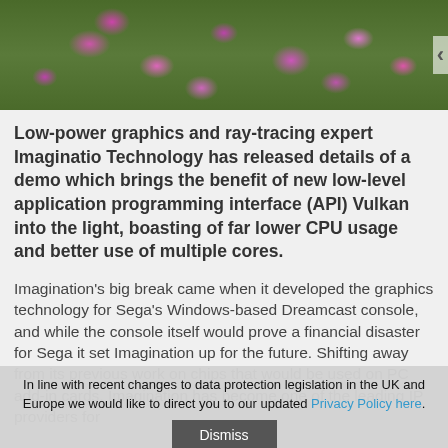[Figure (photo): Aerial view of pink and purple flowering plants over green grass]
Low-power graphics and ray-tracing expert Imaginatio Technology has released details of a demo which brings the benefit of new low-level application programming interface (API) Vulkan into the light, boasting of far lower CPU usage and better use of multiple cores.
Imagination's big break came when it developed the graphics technology for Sega's Windows-based Dreamcast console, and while the console itself would prove a financial disaster for Sega it set Imagination up for the future. Shifting away from its previous work on chips that would be used on PC add-in cards, Imagination has become one of the leading IP providers for
In line with recent changes to data protection legislation in the UK and Europe we would like to direct you to our updated Privacy Policy here.
Dismiss